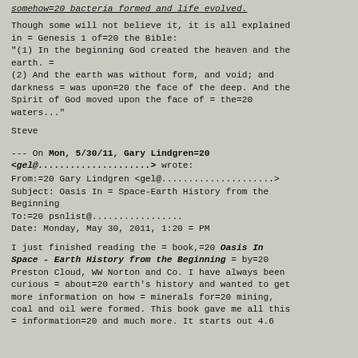somehow=20 bacteria formed and life evolved.
Though some will not believe it, it is all explained in = Genesis 1 of=20 the Bible:
"(1) In the beginning God created the heaven and the earth. =
(2) And the earth was without form, and void; and darkness = was upon=20 the face of the deep. And the Spirit of God moved upon the face of = the=20 waters..."
Steve
--- On Mon, 5/30/11, Gary Lindgren=20 <gel@.....................> wrote:
From:=20 Gary Lindgren <gel@.....................>
Subject: Oasis In = Space-Earth History from the Beginning
To:=20 psnlist@.................
Date: Monday, May 30, 2011, 1:20 = PM
I just finished reading the = book,=20 Oasis In Space - Earth History from the Beginning = by=20 Preston Cloud, WW Norton and Co. I have always been curious = about=20 earth's history and wanted to get more information on how = minerals for=20 mining, coal and oil were formed. This book gave me all this = information=20 and much more. It starts out 4.6...